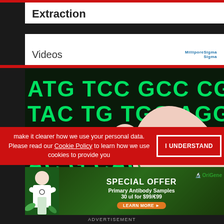Extraction
Videos
[Figure (photo): Hand in white glove holding a small green plant seedling against a dark background with green DNA sequence letters (ATG TCC GCC CG, TAC TG TGG AGG, CCC AAG, AC G CAG, etc.)]
make it clearer how we use your personal data.
Please read our Cookie Policy to learn how we use cookies to provide you
[Figure (infographic): OriGene Special Offer advertisement banner: Primary Antibody Samples 30 ul for $99/€99, with Learn More button and doctor illustration on green background]
ADVERTISEMENT